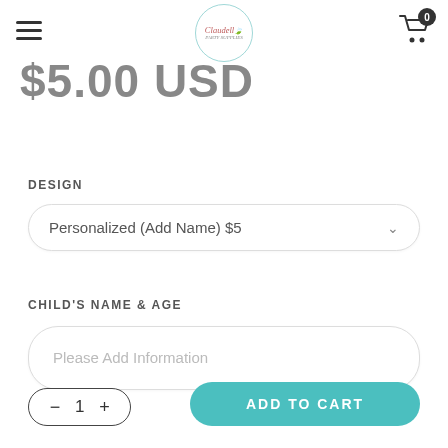Claudell (logo) — navigation header with hamburger menu and cart (0)
$5.00 USD
DESIGN
Personalized (Add Name) $5
CHILD'S NAME & AGE
Please Add Information
1
ADD TO CART